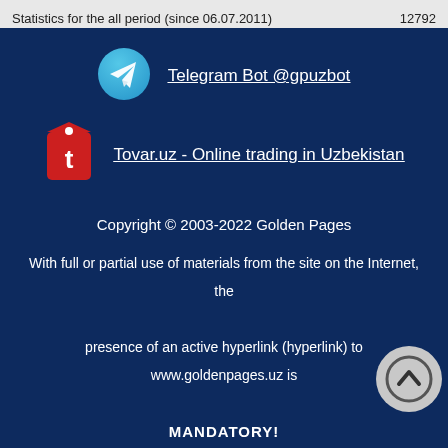Statistics for the all period (since 06.07.2011)    12792
[Figure (logo): Telegram circular logo icon (cyan/blue gradient with paper plane)]
Telegram Bot @gpuzbot
[Figure (logo): Tovar.uz red price tag icon with letter t]
Tovar.uz - Online trading in Uzbekistan
Copyright © 2003-2022 Golden Pages
With full or partial use of materials from the site on the Internet, the presence of an active hyperlink (hyperlink) to www.goldenpages.uz is MANDATORY!
Copying to print is permitted only with the written permission of Golden Pages.